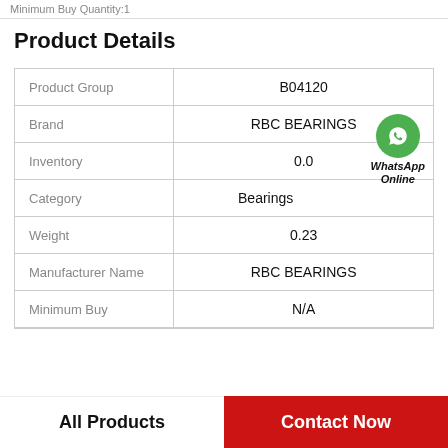Minimum Buy Quantity:1
Product Details
|  |  |
| --- | --- |
| Product Group | B04120 |
| Brand | RBC BEARINGS |
| Inventory | 0.0 |
| Category | Bearings |
| Weight | 0.23 |
| Manufacturer Name | RBC BEARINGS |
| Minimum Buy | N/A |
All Products | Contact Now